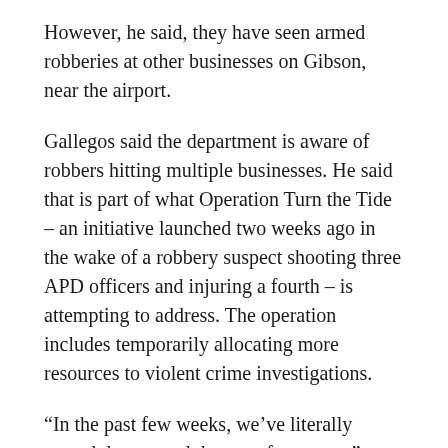However, he said, they have seen armed robberies at other businesses on Gibson, near the airport.
Gallegos said the department is aware of robbers hitting multiple businesses. He said that is part of what Operation Turn the Tide – an initiative launched two weeks ago in the wake of a robbery suspect shooting three APD officers and injuring a fourth – is attempting to address. The operation includes temporarily allocating more resources to violent crime investigations.
“In the past few weeks, we’ve literally served dozens and dozens of warrants,” Gallegos said. “We moved a lot of detectives in to help with robbery and homicide because we’re looking for offenders who are tied to some of these homicides, or potentially tied to these